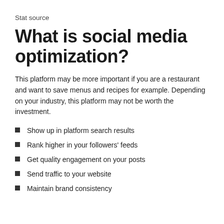Stat source
What is social media optimization?
This platform may be more important if you are a restaurant and want to save menus and recipes for example. Depending on your industry, this platform may not be worth the investment.
Show up in platform search results
Rank higher in your followers' feeds
Get quality engagement on your posts
Send traffic to your website
Maintain brand consistency